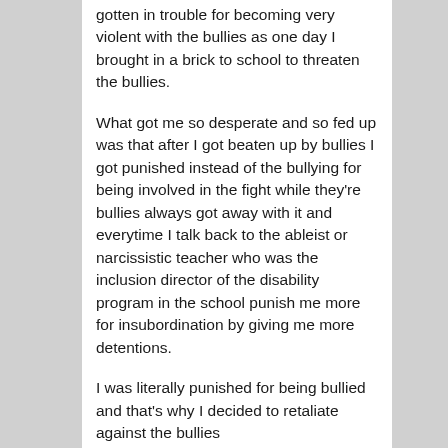gotten in trouble for becoming very violent with the bullies as one day I brought in a brick to school to threaten the bullies.
What got me so desperate and so fed up was that after I got beaten up by bullies I got punished instead of the bullying for being involved in the fight while they're bullies always got away with it and everytime I talk back to the ableist or narcissistic teacher who was the inclusion director of the disability program in the school punish me more for insubordination by giving me more detentions.
I was literally punished for being bullied and that's why I decided to retaliate against the bullies